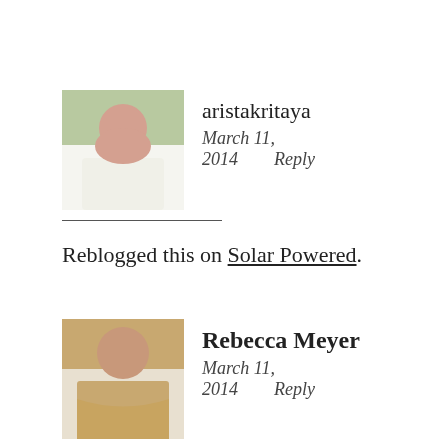[Figure (photo): Avatar photo of user aristakritaya - young woman outdoors]
aristakritaya
March 11, 2014    Reply
Reblogged this on Solar Powered.
[Figure (photo): Avatar photo of user Rebecca Meyer - young woman with brown hair]
Rebecca Meyer
March 11, 2014    Reply
This is my life. I've always been a grammar geek since I was roughly seven or eight years old. When I read Facebook statuses, I am so